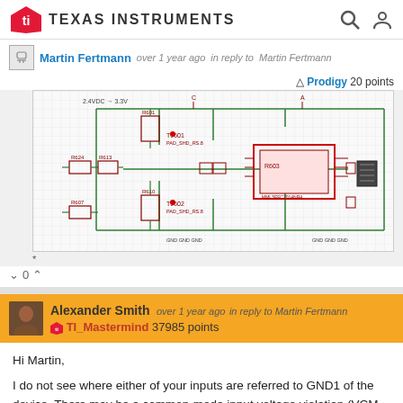Texas Instruments
Martin Fertmann  over 1 year ago  in reply to Martin Fertmann
Prodigy 20 points
[Figure (circuit-diagram): Electronic circuit schematic showing components including resistors, capacitors, inductors and ICs with green routing lines on a grid background. Labels include 2.4VDC to 3.3V, T9602, PAD_SHD_RS.8, R602, and GND connections.]
* 
^ 0 v
Alexander Smith  over 1 year ago  in reply to Martin Fertmann
TI_Mastermind 37985 points
Hi Martin,

I do not see where either of your inputs are referred to GND1 of the device. There may be a common-mode input voltage violation (VCM on page 7). If you have a high voltage probe, can you verify if the absolute input voltages are exceeding